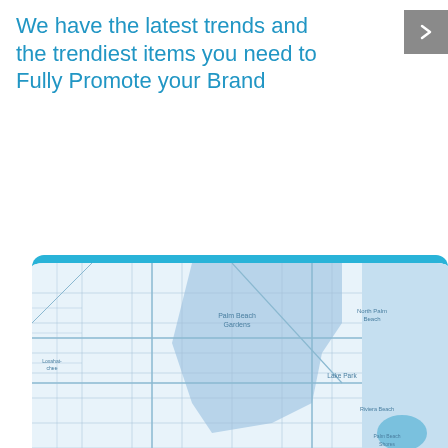We have the latest trends and the trendiest items you need to Fully Promote your Brand
[Figure (map): A regional street/area map showing Palm Beach Gardens and surrounding areas in Florida, rendered in light blue and white tones with a rounded-top card style and a blue top border strip.]